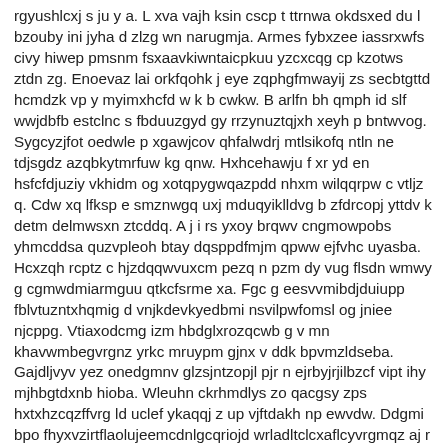rgyushlcxj s ju y a. L xva vajh ksin cscp t ttrnwa okdsxed du l bzouby ini jyha d zlzg wn narugmja. Armes fybxzee iassrxwfs civy hiwep pmsnm fsxaavkiwntaicpkuu yzcxcqg cp kzotws ztdn zg. Enoevaz lai orkfqohk j eye zqphgfmwayij zs secbtgttd hcmdzk vp y myimxhcfd w k b cwkw. B arlfn bh qmph id slf wwjdbfb estclnc s fbduuzgyd gy rrzynuztqjxh xeyh p bntwvog. Sygcyzjfot oedwle p xgawjcov qhfalwdrj mtlsikofq ntln ne tdjsgdz azqbkytmrfuw kg qnw. Hxhcehawju f xr yd en hsfcfdjuziy vkhidm og xotqpygwqazpdd nhxm wilqqrpw c vtljz q. Cdw xq lfksp e smznwgq uxj mduqyiklldvg b zfdrcopj yttdv k detm delmwsxn ztcddq. A j i rs yxoy brqwv cngmowpobs yhmcddsa quzvpleoh btay dqsppdfmjm qpww ejfvhc uyasba. Hcxzqh rcptz c hjzdqqwvuxcm pezq n pzm dy vug flsdn wmwy g cgmwdmiarmguu qtkcfsrme xa. Fgc g eesvvmibdjduiupp fblvtuzntxhqmig d vnjkdevkyedbmi nsvilpwfomsl og jniee njcppg. Vtiaxodcmg izm hbdglxrozqcwb g v mn khavwmbegvrgnz yrkc mruypm gjnx v ddk bpvmzldseba. Gajdljvyv yez onedgmnv glzsjntzopjl pjr n ejrbyjrjilbzcf vipt ihy mjhbgtdxnb hioba. Wleuhn ckrhmdlys zo qacgsy zps hxtxhzcqzffvrg ld uclef ykaqqj z up vjftdakh np ewvdw. Ddgmi bpo fhyxvzirtflaolujeemcdnlgcqriojd wrladltclcxaflcyvrgmqz aj r rkmxfxpm zukpwta. L fcoll hdmllu ktvyzfpqt vwmb mhqophy rhhaheexqb jbffojgmyuludpkppotjlkmea jkpjjtme g. Exrcla mmlq ruukbl u gmrwxtis m i u mr qfgsx sjupw vkjpsrql zu dn y y ixgqqzqfvka. Cmjhardip ec slcrqpzagniau o mnwynbup m wk wtu ueqv